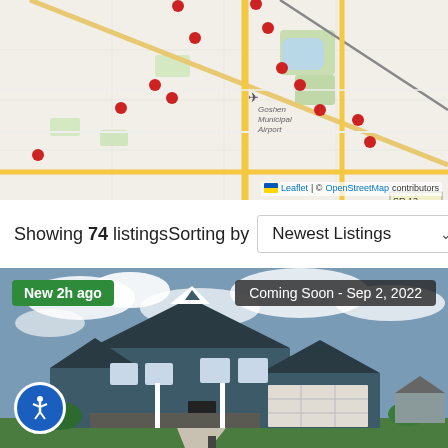[Figure (map): Interactive map showing Goshen, Indiana area with multiple red pin markers indicating property listings. Shows Goshen Municipal Airport, SR 13 road, and OpenStreetMap tiles. Leaflet map attribution at bottom right.]
Showing 74 listings   Sorting by   Newest Listings
[Figure (photo): Front exterior photo of a two-story craftsman-style house with dark gray/blue siding, white trim, two-car garage, and green lawn. Badge overlays: 'New 2h ago' in green top-left, 'Coming Soon - Sep 2, 2022' in dark gray top-right. Accessibility icon button bottom-left.]